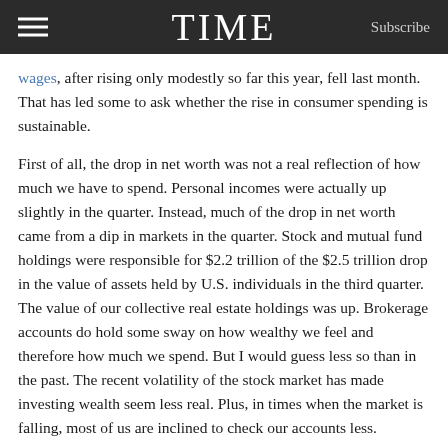TIME  Subscribe
wages, after rising only modestly so far this year, fell last month. That has led some to ask whether the rise in consumer spending is sustainable.
First of all, the drop in net worth was not a real reflection of how much we have to spend. Personal incomes were actually up slightly in the quarter. Instead, much of the drop in net worth came from a dip in markets in the quarter. Stock and mutual fund holdings were responsible for $2.2 trillion of the $2.5 trillion drop in the value of assets held by U.S. individuals in the third quarter. The value of our collective real estate holdings was up. Brokerage accounts do hold some sway on how wealthy we feel and therefore how much we spend. But I would guess less so than in the past. The recent volatility of the stock market has made investing wealth seem less real. Plus, in times when the market is falling, most of us are inclined to check our accounts less.